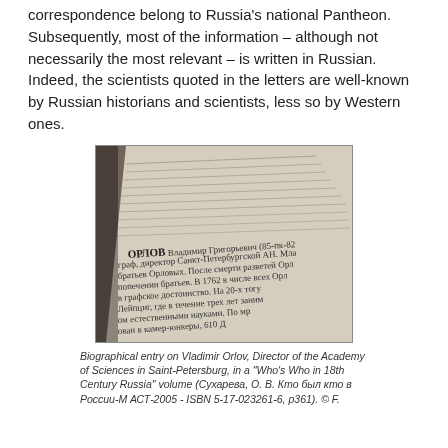correspondence belong to Russia's national Pantheon. Subsequently, most of the information – although not necessarily the most relevant – is written in Russian. Indeed, the scientists quoted in the letters are well-known by Russian historians and scientists, less so by Western ones.
[Figure (photo): A photo of an open book showing a biographical entry in Russian about Vladimir Orlov, Director of the Academy of Sciences in Saint-Petersburg. The text is in Russian, with 'ОРЛОВ' visible in bold.]
Biographical entry on Vladimir Orlov, Director of the Academy of Sciences in Saint-Petersburg, in a "Who's Who in 18th Century Russia" volume (Сухарева, О. В. Кто был кто в России-М АСТ-2005 - ISBN 5-17-023261-6, p361). © F.